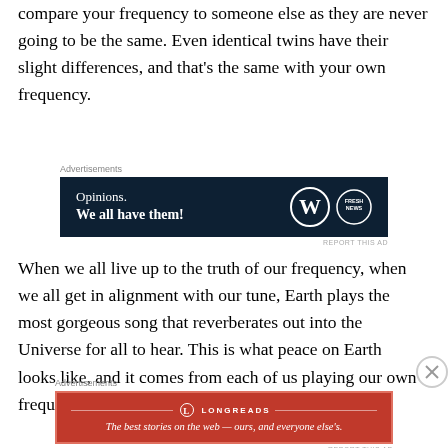compare your frequency to someone else as they are never going to be the same. Even identical twins have their slight differences, and that's the same with your own frequency.
[Figure (other): WordPress.com advertisement banner with dark navy background. Text reads 'Opinions. We all have them!' with WordPress and Fresh News logos on the right.]
When we all live up to the truth of our frequency, when we all get in alignment with our tune, Earth plays the most gorgeous song that reverberates out into the Universe for all to hear. This is what peace on Earth looks like, and it comes from each of us playing our own frequency, and living up to who we are.
[Figure (other): Longreads advertisement banner with red background. Text reads 'The best stories on the web — ours, and everyone else's.']